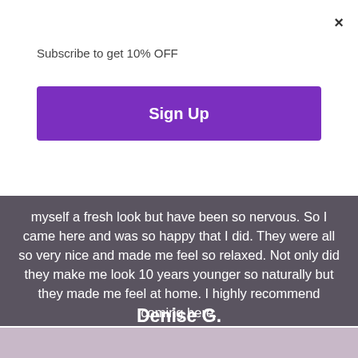×
Subscribe to get 10% OFF
Sign Up
myself a fresh look but have been so nervous. So I came here and was so happy that I did. They were all so very nice and made me feel so relaxed. Not only did they make me look 10 years younger so naturally but they made me feel at home. I highly recommend coming here.
Denise G.